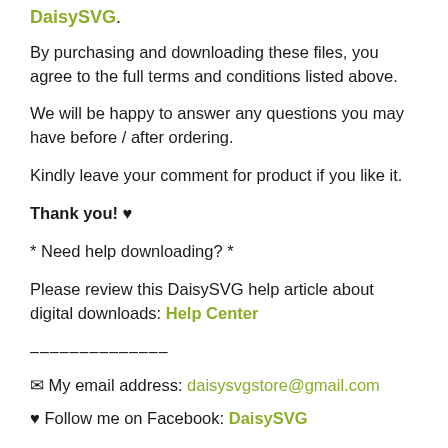DaisySVG.
By purchasing and downloading these files, you agree to the full terms and conditions listed above.
We will be happy to answer any questions you may have before / after ordering.
Kindly leave your comment for product if you like it.
Thank you! ♥
* Need help downloading? *
Please review this DaisySVG help article about digital downloads: Help Center
─────────────
✉ My email address: daisysvgstore@gmail.com
♥ Follow me on Facebook: DaisySVG